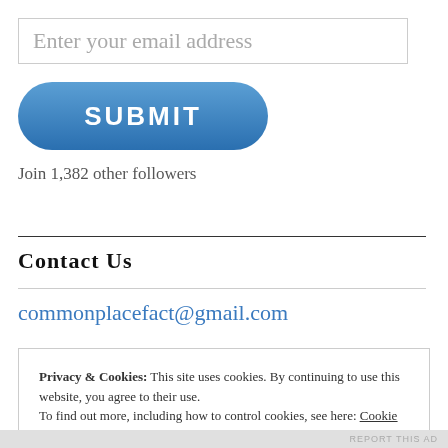Enter your email address
[Figure (screenshot): Blue rounded SUBMIT button]
Join 1,382 other followers
Contact Us
commonplacefact@gmail.com
Privacy & Cookies: This site uses cookies. By continuing to use this website, you agree to their use. To find out more, including how to control cookies, see here: Cookie Policy
Close and accept